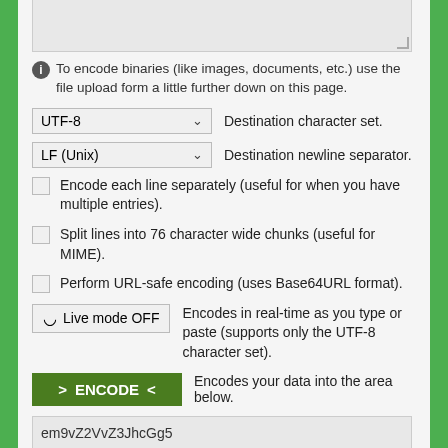[Figure (screenshot): Top text area input (partially visible, gray background)]
To encode binaries (like images, documents, etc.) use the file upload form a little further down on this page.
UTF-8   Destination character set.
LF (Unix)   Destination newline separator.
Encode each line separately (useful for when you have multiple entries).
Split lines into 76 character wide chunks (useful for MIME).
Perform URL-safe encoding (uses Base64URL format).
Live mode OFF   Encodes in real-time as you type or paste (supports only the UTF-8 character set).
> ENCODE <   Encodes your data into the area below.
em9vZ2VvZ3JhcGh5